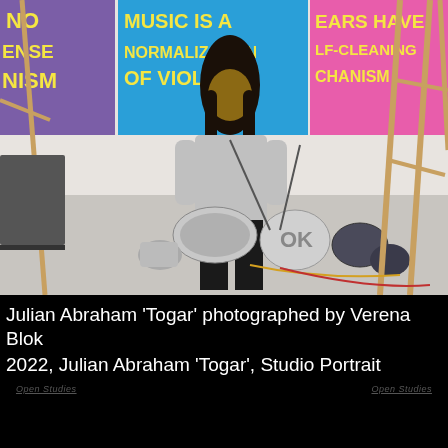[Figure (photo): Studio portrait of Julian Abraham 'Togar', a person with long dark hair wearing a grey sweatshirt and dark pants, standing in an art studio surrounded by various instruments (drums, speakers, horns), wooden easels, and colorful text-based artworks on the walls including signs reading 'MUSIC IS A NORMALIZATION OF VIOLENCE' and 'EARS HAVE SELF-CLEANING MECHANISM'. Photo by Verena Blok, 2022.]
Julian Abraham 'Togar' photographed by Verena Blok
2022, Julian Abraham 'Togar', Studio Portrait